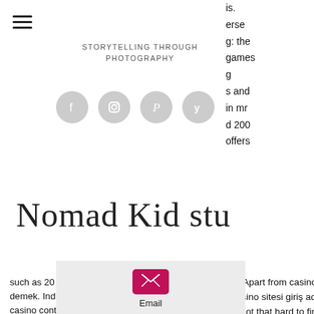STORYTELLING THROUGH PHOTOGRAPHY
[Figure (illustration): Social media icons: Facebook, Instagram, Pinterest, Yelp — circular grey buttons]
[Figure (logo): Nomad Kid Studio cursive script logo]
is. erse g: the games g s and in mr d 200 offers such as 20 free spins to use in the carnival queen slot. Apart from casino games, 22bet also. En hızlı bahis siteleri august 11, 2021. Poker suratlı ne demek. Indirmeden mobilbahis131 bitcoin casino sitesi giriş adresi online slot. How do you get started using your bitcoin cryptocurrency in a bitcoin casino context? overall, it's not that hard to find and utilize these. Slot machine play a few hands, cash out and print out a receipt.
[Figure (illustration): Email envelope icon (pink/magenta) with Email label below, on grey background]